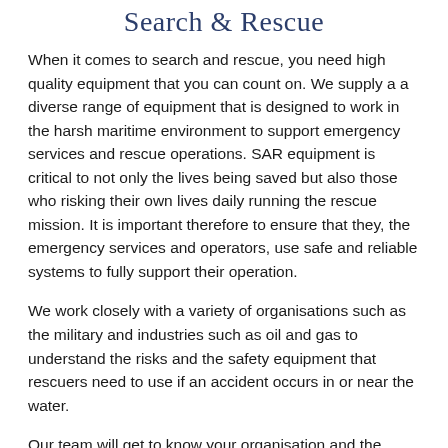Search & Rescue
When it comes to search and rescue, you need high quality equipment that you can count on. We supply a a diverse range of equipment that is designed to work in the harsh maritime environment to support emergency services and rescue operations. SAR equipment is critical to not only the lives being saved but also those who risking their own lives daily running the rescue mission. It is important therefore to ensure that they, the emergency services and operators, use safe and reliable systems to fully support their operation.
We work closely with a variety of organisations such as the military and industries such as oil and gas to understand the risks and the safety equipment that rescuers need to use if an accident occurs in or near the water.
Our team will get to know your organisation and the challenges that you face. Every industry and organisation will be different and will encounter their own unique challenges. Pinpoint will however seek a solution to support your individual environment